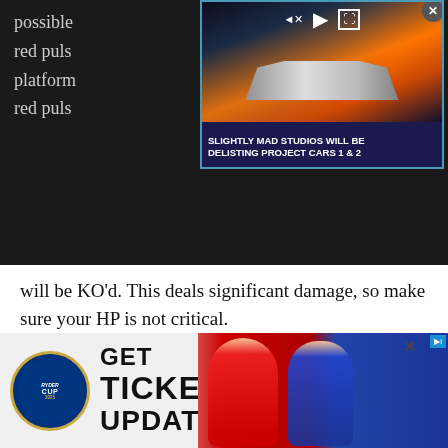possible ... of the red puls... ...ne platform... ...on the red puls... ...center
[Figure (screenshot): Video ad overlay showing a sports car with title 'SLIGHTLY MAD STUDIOS WILL BE DELISTING PROJECT CARS 1 & 2' with video playback controls and a close button]
will be KO'd. This deals significant damage, so make sure your HP is not critical.
Landslide (frontal line attack) – Knocks affected players in the AoE back, pushing them off the platform and resulting in a KO.
[Figure (screenshot): Bottom advertisement banner for Ryder Cup showing 'GET TICKET UPDATES' with Ryder Cup logo and golfer photos]